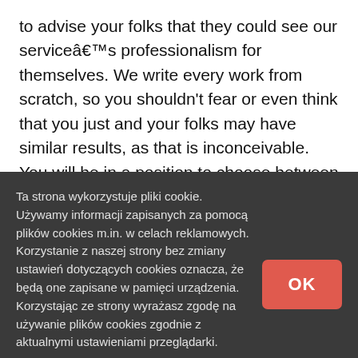to advise your folks that they could see our serviceâs professionalism for themselves. We write every work from scratch, so you shouldn't fear or even think that you just and your folks may have similar results, as that is inconceivable. You will be in a position to choose between such academic ranges as highschool, undergraduate, masterâs, or you'll have
Ta strona wykorzystuje pliki cookie. Używamy informacji zapisanych za pomocą plików cookies m.in. w celach reklamowych. Korzystanie z naszej strony bez zmiany ustawień dotyczących cookies oznacza, że będą one zapisane w pamięci urządzenia. Korzystając ze strony wyrażasz zgodę na używanie plików cookies zgodnie z aktualnymi ustawieniami przeglądarki.